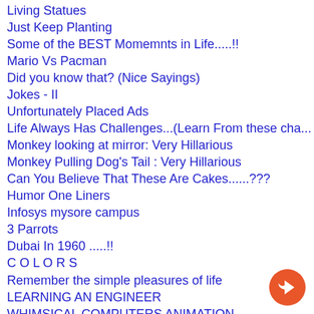Living Statues
Just Keep Planting
Some of the BEST Momemnts in Life.....!!
Mario Vs Pacman
Did you know that? (Nice Sayings)
Jokes - II
Unfortunately Placed Ads
Life Always Has Challenges...(Learn From these cha...
Monkey looking at mirror: Very Hillarious
Monkey Pulling Dog's Tail : Very Hillarious
Can You Believe That These Are Cakes......???
Humor One Liners
Infosys mysore campus
3 Parrots
Dubai In 1960 .....!!
C O L O R S
Remember the simple pleasures of life
LEARNING AN ENGINEER
WHIMSICAL COMPUTERS ANIMATION
The Key to Friendship..
The Best Shadow Illusion Ever
Chinese Call Center